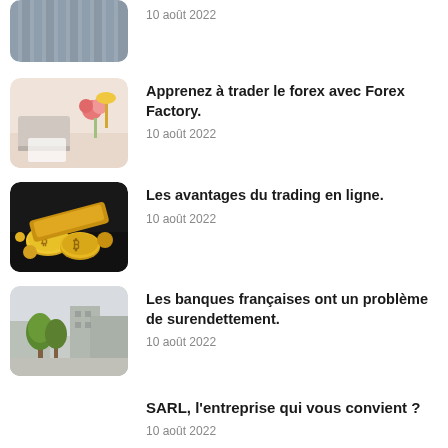[Figure (photo): Partial view of a grey building/curtain photo thumbnail]
10 août 2022
[Figure (photo): Office desk with laptop, flowers, pink items thumbnail]
Apprenez à trader le forex avec Forex Factory.
10 août 2022
[Figure (photo): Bitcoin gold coins on dark background thumbnail]
Les avantages du trading en ligne.
10 août 2022
[Figure (photo): City street with trees and buildings thumbnail]
Les banques françaises ont un problème de surendettement.
10 août 2022
SARL, l'entreprise qui vous convient ?
10 août 2022